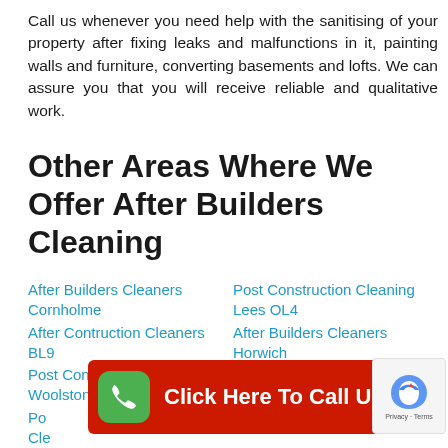Call us whenever you need help with the sanitising of your property after fixing leaks and malfunctions in it, painting walls and furniture, converting basements and lofts. We can assure you that you will receive reliable and qualitative work.
Other Areas Where We Offer After Builders Cleaning
After Builders Cleaners Cornholme
Post Construction Cleaning Lees OL4
After Contruction Cleaners BL9
After Builders Cleaners Horwich
Post Construction Cleaning Woolston WA1
After Builders Cleaners Pennington
Post Construction Cleaning WA15
BL7